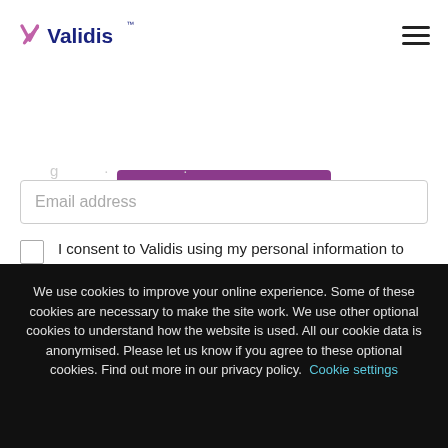Validis
Contact Us
Email address
I consent to Validis using my personal information to send me updates and news about its products and services. For more information, see our privacy policy.
We use cookies to improve your online experience. Some of these cookies are necessary to make the site work. We use other optional cookies to understand how the website is used. All our cookie data is anonymised. Please let us know if you agree to these optional cookies. Find out more in our privacy policy. Cookie settings
ACCEPT